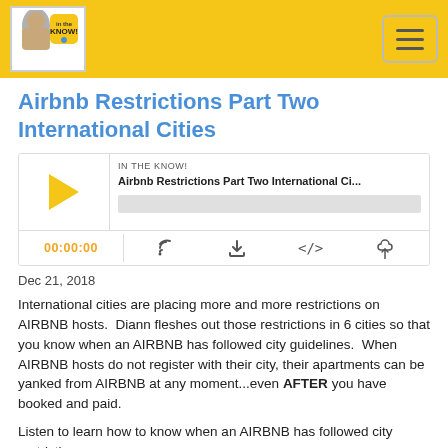IN THE KNOW! — header bar with logo and hamburger menu
Airbnb Restrictions Part Two International Cities
[Figure (screenshot): Podcast player widget showing 'IN THE KNOW!' show, episode 'Airbnb Restrictions Part Two International Ci...', with play button, progress bar, timestamp 00:00:00, and control icons (cast, download, embed, share)]
Dec 21, 2018
International cities are placing more and more restrictions on AIRBNB hosts.  Diann fleshes out those restrictions in 6 cities so that you know when an AIRBNB has followed city guidelines.  When AIRBNB hosts do not register with their city, their apartments can be yanked from AIRBNB at any moment...even AFTER you have booked and paid.
Listen to learn how to know when an AIRBNB has followed city restrictions.